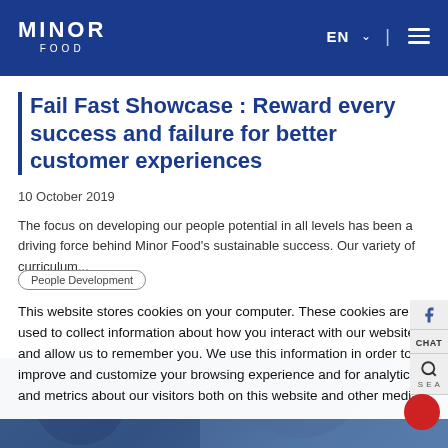MINOR FOOD | EN | Navigation menu
Fail Fast Showcase : Reward every success and failure for better customer experiences
10 October 2019
The focus on developing our people potential in all levels has been a driving force behind Minor Food's sustainable success. Our variety of curriculum...
People Development
This website stores cookies on your computer. These cookies are used to collect information about how you interact with our website and allow us to remember you. We use this information in order to improve and customize your browsing experience and for analytics and metrics about our visitors both on this website and other media.
[Figure (photo): Partially visible photo strip of people at the bottom of the page]